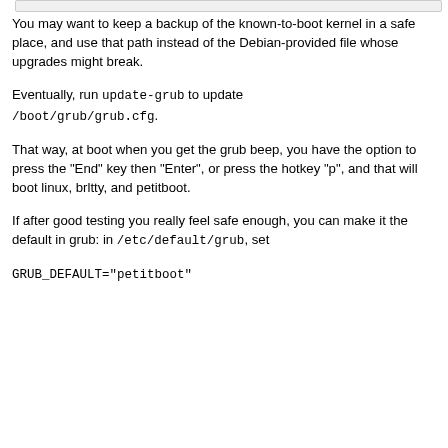You may want to keep a backup of the known-to-boot kernel in a safe place, and use that path instead of the Debian-provided file whose upgrades might break.
Eventually, run update-grub to update /boot/grub/grub.cfg.
That way, at boot when you get the grub beep, you have the option to press the "End" key then "Enter", or press the hotkey "p", and that will boot linux, brltty, and petitboot.
If after good testing you really feel safe enough, you can make it the default in grub: in /etc/default/grub, set
GRUB_DEFAULT="petitboot"